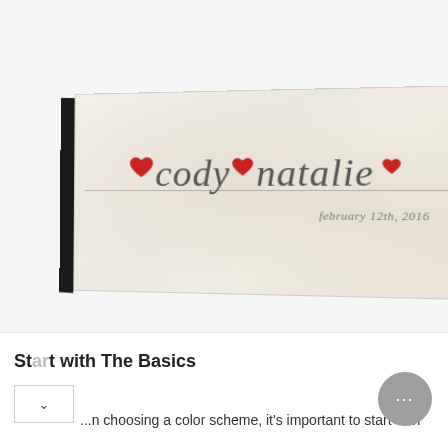[Figure (photo): A personalized canvas print shown in perspective/3D angle view. The canvas has a cream/off-white textured background with a thin horizontal line running across the middle. Red hand-drawn hearts appear above the line, and the names 'cody' and 'natalie' are written in gray italic script. Below the names it reads 'february 12th, 2016'. The canvas has a black side visible on the left edge.]
Start with The Basics
...n choosing a color scheme, it's important to start with